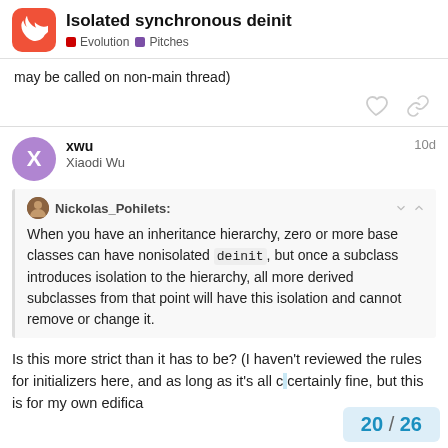Isolated synchronous deinit — Evolution / Pitches
may be called on non-main thread)
xwu
Xiaodi Wu
10d
Nickolas_Pohilets:
When you have an inheritance hierarchy, zero or more base classes can have nonisolated deinit, but once a subclass introduces isolation to the hierarchy, all more derived subclasses from that point will have this isolation and cannot remove or change it.
Is this more strict than it has to be? (I haven't reviewed the rules for initializers here, and as long as it's all c[onsistent it's certainly fine, but this is for my own edifica[tion)
20 / 26